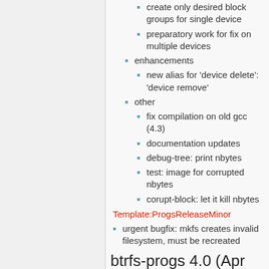create only desired block groups for single device
preparatory work for fix on multiple devices
enhancements
new alias for 'device delete': 'device remove'
other
fix compilation on old gcc (4.3)
documentation updates
debug-tree: print nbytes
test: image for corrupted nbytes
corupt-block: let it kill nbytes
Template:ProgsReleaseMinor
urgent bugfix: mkfs creates invalid filesystem, must be recreated
btrfs-progs 4.0 (Apr 2015)
resize:
don't accept file as an argument (it's confusing)